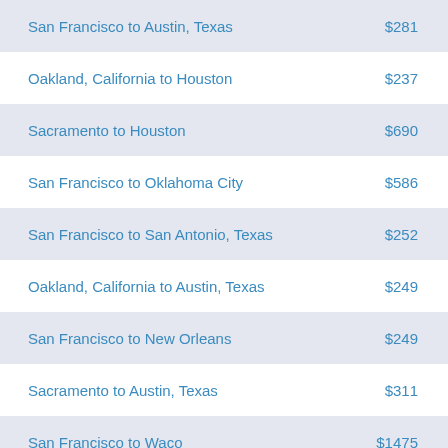San Francisco to Austin, Texas — $281
Oakland, California to Houston — $237
Sacramento to Houston — $690
San Francisco to Oklahoma City — $586
San Francisco to San Antonio, Texas — $252
Oakland, California to Austin, Texas — $249
San Francisco to New Orleans — $249
Sacramento to Austin, Texas — $311
San Francisco to Waco — $1475